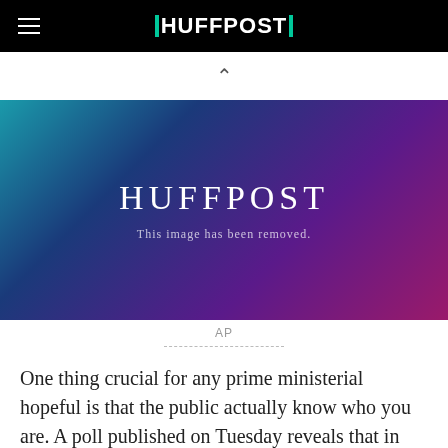HUFFPOST
[Figure (photo): HuffPost image placeholder with teal-to-purple gradient background and text 'HUFFPOST - This image has been removed.']
AP
One thing crucial for any prime ministerial hopeful is that the public actually know who you are. A poll published on Tuesday reveals that in these stakes, Boris Johnson is doing rather well.